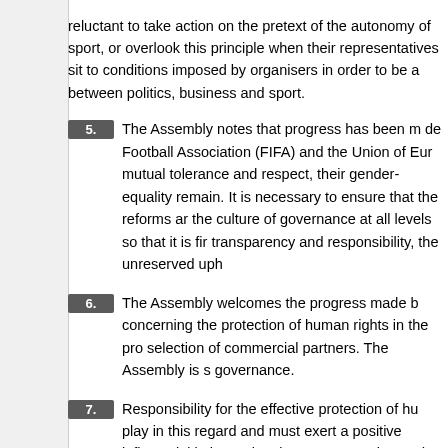reluctant to take action on the pretext of the autonomy of sport, or overlook this principle when their representatives sit to conditions imposed by organisers in order to be a between politics, business and sport.
5.  The Assembly notes that progress has been m de Football Association (FIFA) and the Union of Eur mutual tolerance and respect, their gender-equality remain. It is necessary to ensure that the reforms ar the culture of governance at all levels so that it is fir transparency and responsibility, the unreserved uph
6.  The Assembly welcomes the progress made b concerning the protection of human rights in the pro selection of commercial partners. The Assembly is s governance.
7.  Responsibility for the effective protection of hu play in this regard and must exert a positive influenc initiatives taken by FIFA to monitor and improve the However, the situation of immigrant workers in Qata construction sites. Problems concerning the rights